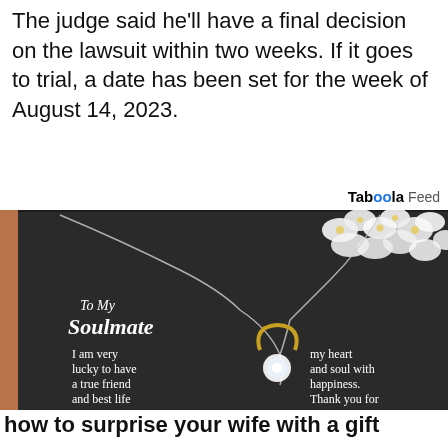The judge said he'll have a final decision on the lawsuit within two weeks. If it goes to trial, a date has been set for the week of August 14, 2023.
Taboola Feed
[Figure (photo): Advertisement photo showing a jewelry necklace in a gift box with a card reading 'To My Soulmate, I am very lucky to have a true friend and best life... my heart and soul with happiness. Thank you for' with white flowers in the background.]
how to surprise your wife with a gift